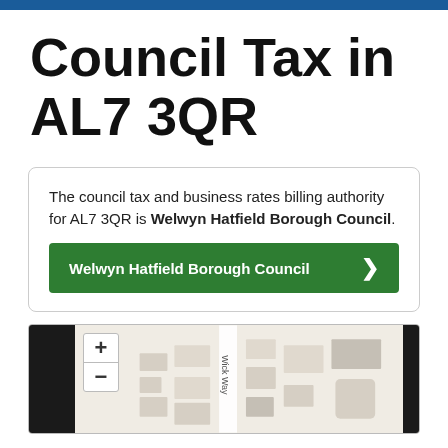Council Tax in AL7 3QR
The council tax and business rates billing authority for AL7 3QR is Welwyn Hatfield Borough Council.
[Figure (map): Street map showing the location of AL7 3QR with zoom controls and nearby roads including Wick Way]